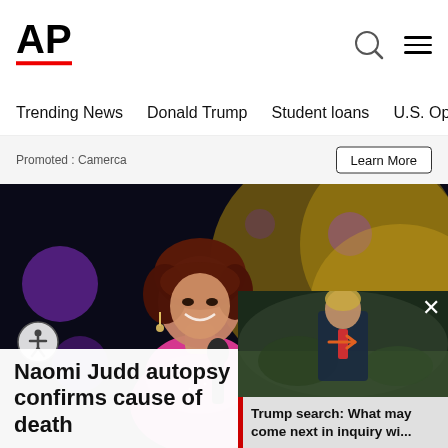AP
Trending News   Donald Trump   Student loans   U.S. Open Tenn
Promoted : Camerca
Learn More
[Figure (photo): Woman with dark red hair in pink jacket singing into microphone on stage with purple and yellow stage lighting]
[Figure (photo): Man in suit with red tie, appears to be Trump, outdoors]
Naomi Judd autopsy confirms cause of death
Trump search: What may come next in inquiry wi...